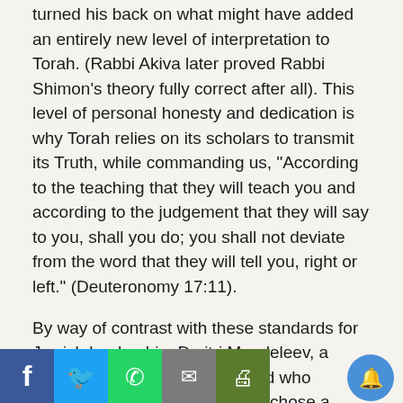turned his back on what might have added an entirely new level of interpretation to Torah. (Rabbi Akiva later proved Rabbi Shimon's theory fully correct after all). This level of personal honesty and dedication is why Torah relies on its scholars to transmit its Truth, while commanding us, “According to the teaching that they will teach you and according to the judgement that they will say to you, shall you do; you shall not deviate from the word that they will tell you, right or left.” (Deuteronomy 17:11).
By way of contrast with these standards for Jewish leadership, Dmitri Mendeleev, a scientist and a leader in his field who invented the table of elements, chose a different route when he discovered a flaw in his own work. Rather than admitting the mistake, he covered it up in order to preserve his reputation as a pioneer who was to bridge the gap between alchemy and chemistry. Ironically, Mendeleev’s work, like Rabbi Shimon’s was also proved correct later on. But the difference between … himself and Rabbi Shimon’s commitment to the truth is striking.